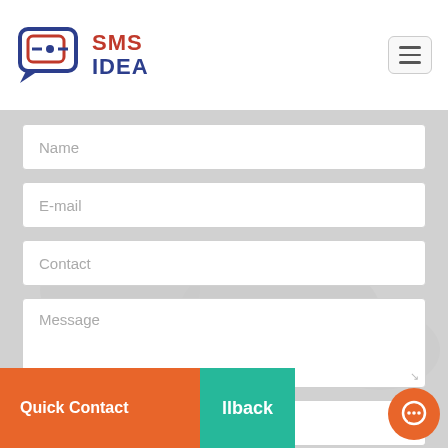[Figure (logo): SMS Idea logo with speech bubble icon and red/blue text]
Name
E-mail
Contact
Message
B7277
Enter code
Quick Contact
llback